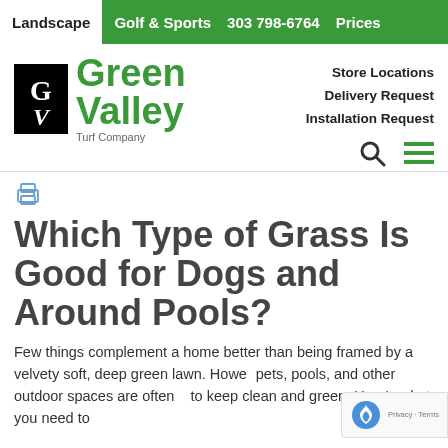Landscape   Golf & Sports   303 798-6764   Prices
[Figure (logo): Green Valley Turf Company logo with GV monogram in black box and green text]
Store Locations
Delivery Request
Installation Request
Which Type of Grass Is Good for Dogs and Around Pools?
Few things complement a home better than being framed by a velvety soft, deep green lawn. Howe... pets, pools, and other outdoor spaces are often to keep clean and green. Here's what you need to